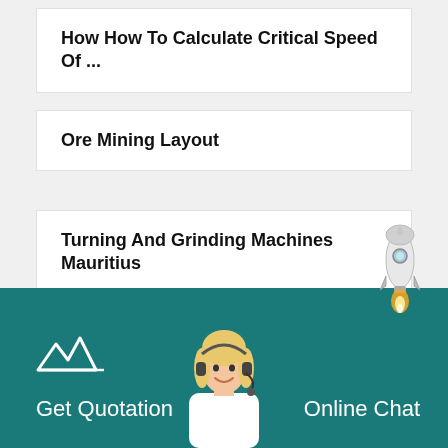How How To Calculate Critical Speed Of ...
Ore Mining Layout
Turning And Grinding Machines Mauritius
[Figure (illustration): Rocket illustration with flame, positioned at right above the teal footer section]
[Figure (logo): Company logo mark in white on teal background, bottom left]
[Figure (photo): Customer service representative (blond woman with headset) centered in footer]
Get Quotation
Online Chat